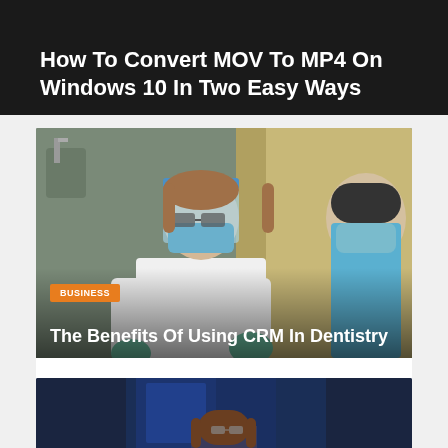How To Convert MOV To MP4 On Windows 10 In Two Easy Ways
[Figure (photo): Medical professional in PPE gear (face shield, mask, gloves) working on a patient, with another masked person in the background]
BUSINESS
The Benefits Of Using CRM In Dentistry
Medical software development continues to gain momentum as developers use innovative technologies to solve pressing problems in the field of healthcar ...
Ava
4 weeks ago
[Figure (photo): Dark blue-toned image of a person with long brown hair and glasses looking down, possibly in a laboratory or office setting]